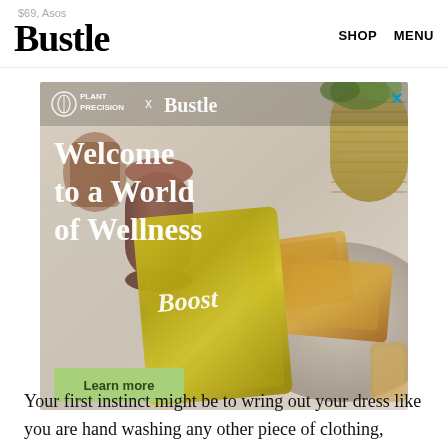$69, Asos | Bustle | SHOP | MENU
[Figure (photo): Advertisement banner for Plant Precision x Bustle collaboration showing wellness products including a brown canister, gold Boost supplement packet, toast on a plate, wicker vase with flowers, and a glass of liquid on a light surface. Text reads: 'PLANT PRECISION x Bustle - Welcome to a World of Wellness' with a 'Learn more' button.]
Your first instinct might be to wring out your dress like you are hand washing any other piece of clothing,